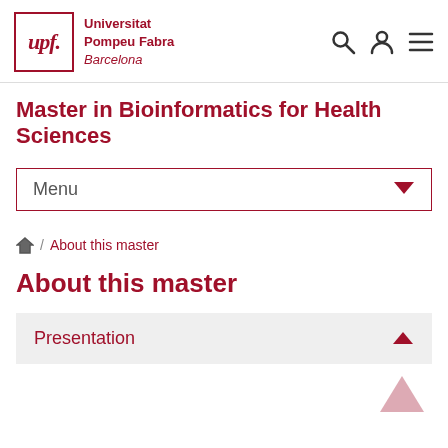upf. Universitat Pompeu Fabra Barcelona
Master in Bioinformatics for Health Sciences
Menu
Home / About this master
About this master
Presentation